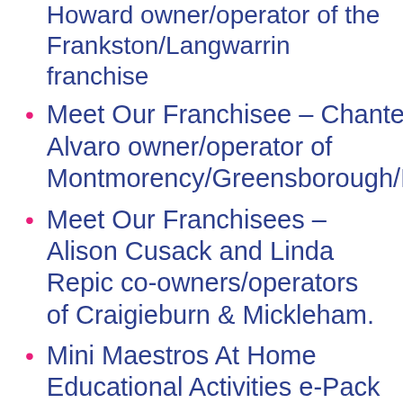Meet the Franchisee – Mike Howard owner/operator of the Frankston/Langwarrin franchise
Meet Our Franchisee – Chantelle Alvaro owner/operator of Montmorency/Greensborough/Eltham
Meet Our Franchisees – Alison Cusack and Linda Repic co-owners/operators of Craigieburn & Mickleham.
Mini Maestros At Home Educational Activities e-Pack
Zoom Zoom Zoom With Bumblebee – By Melissa Eilers
7 Things to Keep your Toddler